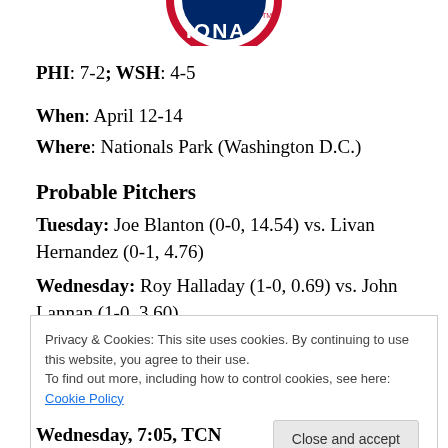[Figure (logo): Partial circular logo with red, white and blue colors showing text 'IONA' and a 'TM' mark — appears to be a sports/baseball national league logo cropped at top]
PHI: 7-2; WSH: 4-5
When: April 12-14
Where: Nationals Park (Washington D.C.)
Probable Pitchers
Tuesday: Joe Blanton (0-0, 14.54) vs. Livan Hernandez (0-1, 4.76)
Wednesday: Roy Halladay (1-0, 0.69) vs. John Lannan (1-0, 3.60)
Privacy & Cookies: This site uses cookies. By continuing to use this website, you agree to their use.
To find out more, including how to control cookies, see here: Cookie Policy
Wednesday, 7:05, TCN